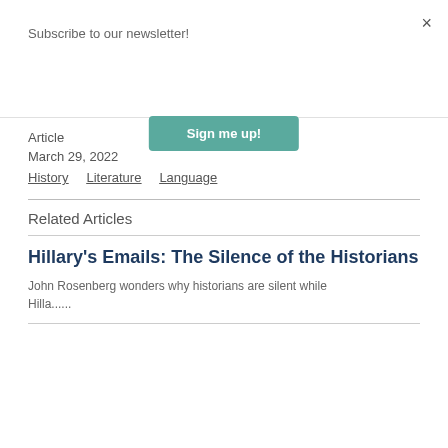Subscribe to our newsletter!
Sign me up!
×
Article
March 29, 2022
History   Literature   Language
Related Articles
Hillary's Emails: The Silence of the Historians
John Rosenberg wonders why historians are silent while Hilla......